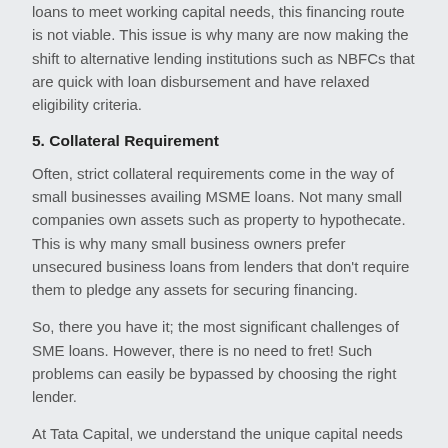loans to meet working capital needs, this financing route is not viable. This issue is why many are now making the shift to alternative lending institutions such as NBFCs that are quick with loan disbursement and have relaxed eligibility criteria.
5. Collateral Requirement
Often, strict collateral requirements come in the way of small businesses availing MSME loans. Not many small companies own assets such as property to hypothecate. This is why many small business owners prefer unsecured business loans from lenders that don't require them to pledge any assets for securing financing.
So, there you have it; the most significant challenges of SME loans. However, there is no need to fret! Such problems can easily be bypassed by choosing the right lender.
At Tata Capital, we understand the unique capital needs of MSMEs and the challenges they face in securing funding. To learn small business...